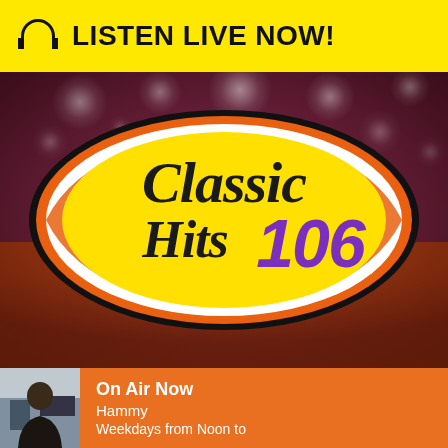🎧 LISTEN LIVE NOW!
[Figure (logo): Classic Hits 106 radio station logo — yellow oval with black text 'Classic Hits' in cursive and purple '106' numeral, surrounded by orange swirl design on a dark bokeh background]
On Air Now
Hammy
Weekdays from Noon to